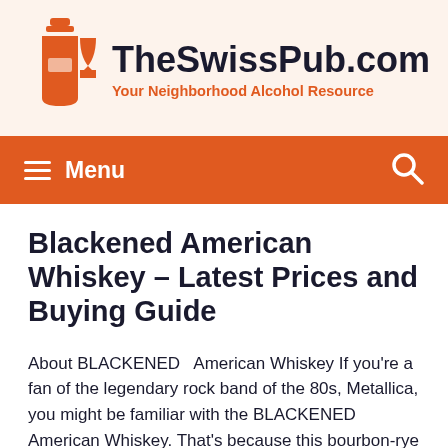TheSwissPub.com — Your Neighborhood Alcohol Resource
Blackened American Whiskey – Latest Prices and Buying Guide
About BLACKENED   American Whiskey If you're a fan of the legendary rock band of the 80s, Metallica, you might be familiar with the BLACKENED   American Whiskey. That's because this bourbon-rye blend whiskey's flavors were enhanced by the reverberating rock music of Metallica. The thought is to fine-tune four and